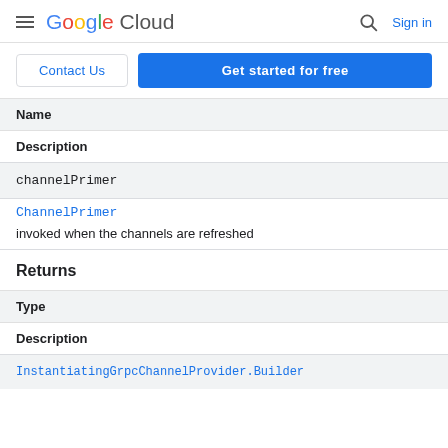Google Cloud  Sign in
Contact Us | Get started for free
| Name | Description |
| --- | --- |
| channelPrimer | ChannelPrimer
invoked when the channels are refreshed |
Returns
| Type | Description |
| --- | --- |
| InstantiatingGrpcChannelProvider.Builder |  |